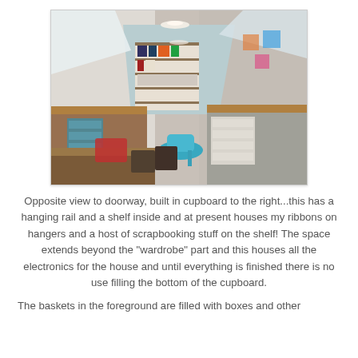[Figure (photo): Interior photo of a craft room with sloped attic ceiling, workbenches on left and right, shelving units along the back wall covered with craft supplies, a teal chair in the center, and various baskets, drawers, and storage containers throughout.]
Opposite view to doorway, built in cupboard to the right...this has a hanging rail and a shelf inside and at present houses my ribbons on hangers and a host of scrapbooking stuff on the shelf! The space extends beyond the "wardrobe" part and this houses all the electronics for the house and until everything is finished there is no use filling the bottom of the cupboard.
The baskets in the foreground are filled with boxes and other